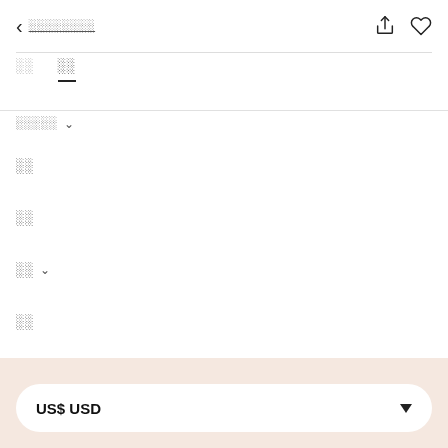< ░░░░░░░░
░░   ░░
░░░░░ ∨
░░
░░
░░ ∨
░░
░░ ∨
US$ USD